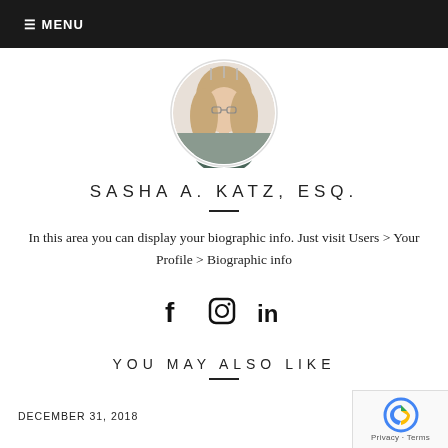☰ MENU
[Figure (photo): Circular profile photo of Sasha A. Katz, a woman with long blonde hair wearing a dark blazer, with a chandelier visible in the background.]
SASHA A. KATZ, ESQ.
In this area you can display your biographic info. Just visit Users > Your Profile > Biographic info
[Figure (infographic): Social media icons: Facebook (f), Instagram (circle camera icon), LinkedIn (in)]
YOU MAY ALSO LIKE
DECEMBER 31, 2018